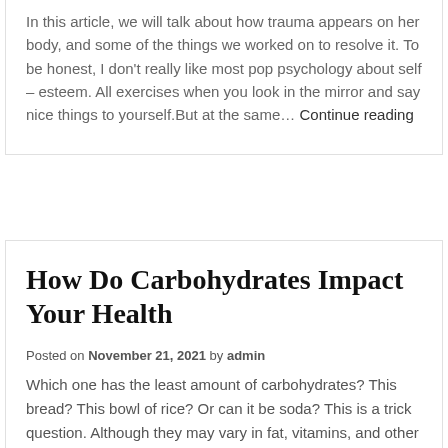In this article, we will talk about how trauma appears on her body, and some of the things we worked on to resolve it. To be honest, I don't really like most pop psychology about self – esteem. All exercises when you look in the mirror and say nice things to yourself.But at the same… Continue reading
How Do Carbohydrates Impact Your Health
Posted on November 21, 2021  by  admin
Which one has the least amount of carbohydrates? This bread? This bowl of rice? Or can it be soda? This is a trick question. Although they may vary in fat, vitamins, and other carbohydrate content, they are almost